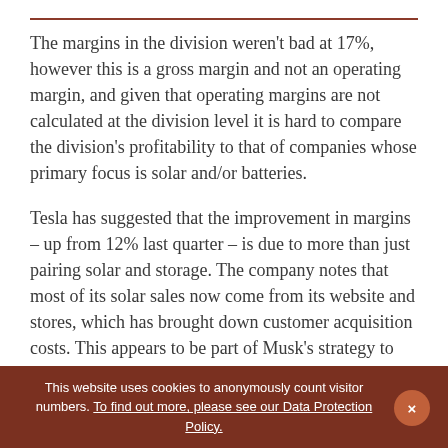The margins in the division weren't bad at 17%, however this is a gross margin and not an operating margin, and given that operating margins are not calculated at the division level it is hard to compare the division's profitability to that of companies whose primary focus is solar and/or batteries.
Tesla has suggested that the improvement in margins – up from 12% last quarter – is due to more than just pairing solar and storage. The company notes that most of its solar sales now come from its website and stores, which has brought down customer acquisition costs. This appears to be part of Musk's strategy to offer a combined EV solar and storage solution to his
This website uses cookies to anonymously count visitor numbers. To find out more, please see our Data Protection Policy.